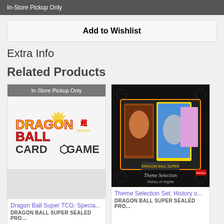In-Store Pickup Only
Add to Wishlist
Extra Info
Related Products
[Figure (screenshot): Dragon Ball Super TCG product card with 'In-Store Pickup Only' badge and Dragon Ball Super Card Game logo]
Dragon Ball Super TCG: Specia...
DRAGON BALL SUPER SEALED PRO...
[Figure (screenshot): Theme Selection Set: History of Vegeta product card with box art showing Dragon Ball Super cards]
Theme Selection Set: History o...
DRAGON BALL SUPER SEALED PRO...